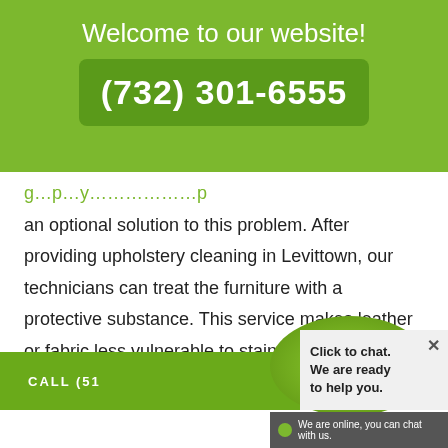Welcome to our website!
(732) 301-6555
an optional solution to this problem. After providing upholstery cleaning in Levittown, our technicians can treat the furniture with a protective substance. This service makes leather or fabric less vulnerable to stains and helps customers save money in the long run.
[Figure (screenshot): Chat widget with green bubble showing 'Chat' label, a 'Click to chat. We are ready to help you.' box, a green 'CALL (51...' bar, and an online status bar reading 'We are online, you can chat with us.']